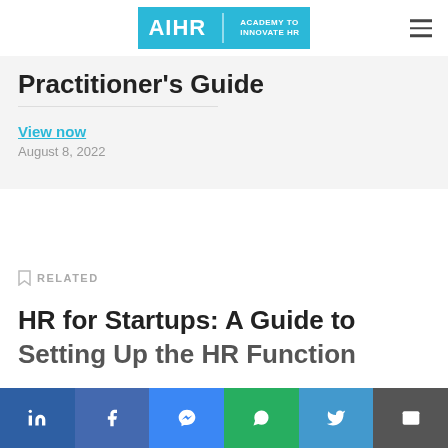AIHR | ACADEMY TO INNOVATE HR
Practitioner's Guide
View now
August 8, 2022
RELATED
HR for Startups: A Guide to Setting Up the HR Function
Share bar: LinkedIn, Facebook, Messenger, WhatsApp, Twitter, Email